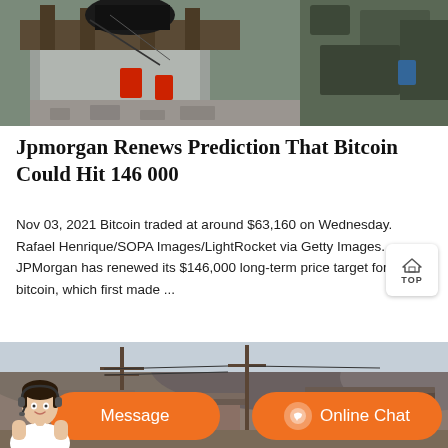[Figure (photo): Construction or mining site with machinery, concrete structure, and rocky terrain in background]
Jpmorgan Renews Prediction That Bitcoin Could Hit 146 000
Nov 03, 2021 Bitcoin traded at around $63,160 on Wednesday. Rafael Henrique/SOPA Images/LightRocket via Getty Images. JPMorgan has renewed its $146,000 long-term price target for bitcoin, which first made ...
[Figure (photo): Outdoor scene with rocky hillside, telephone poles, and traditional-style rooftops, partially obscured by chat overlay bar]
[Figure (infographic): Orange chat bar with customer service person avatar, Message button, and Online Chat button with headset icon]